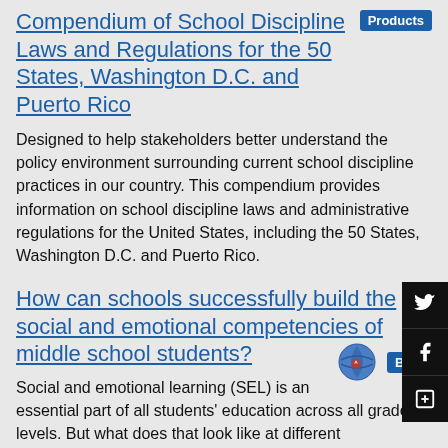Compendium of School Discipline Laws and Regulations for the 50 States, Washington D.C. and Puerto Rico
Designed to help stakeholders better understand the policy environment surrounding current school discipline practices in our country. This compendium provides information on school discipline laws and administrative regulations for the United States, including the 50 States, Washington D.C. and Puerto Rico.
How can schools successfully build the social and emotional competencies of middle school students?
Social and emotional learning (SEL) is an essential part of all students' education across all grade levels. But what does that look like at different developmental stages, and how can SEL best support students' learning and development across PreK-12th